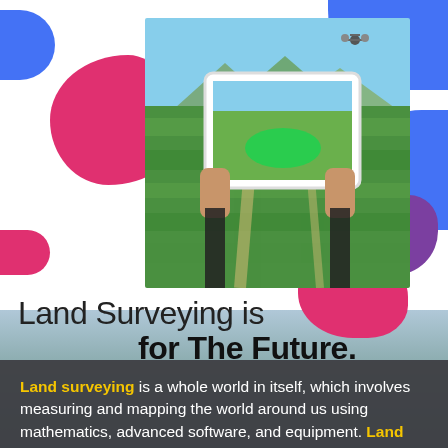[Figure (photo): Drone photograph of green agricultural fields with a person holding a tablet/iPad showing the same aerial view with a green highlighted area overlay. A drone is visible in the upper sky. Colorful blob shapes (blue, pink, purple) are overlaid as decorative elements around the photo.]
Land Surveying is for The Future.
Land surveying is a whole world in itself, which involves measuring and mapping the world around us using mathematics, advanced software, and equipment. Land surveyors are capable of calculating just